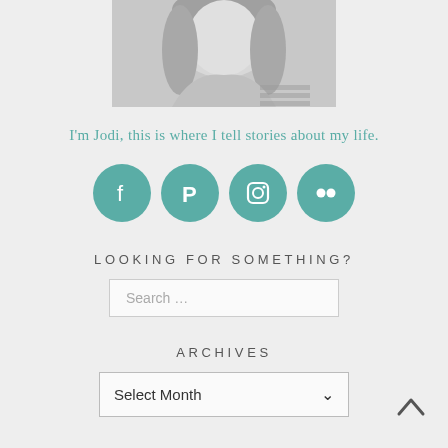[Figure (photo): Black and white photograph of a woman (Jodi), cropped at the top of the page]
I'm Jodi, this is where I tell stories about my life.
[Figure (infographic): Four teal circular social media icons: Facebook, Pinterest, Instagram, Flickr]
LOOKING FOR SOMETHING?
Search …
ARCHIVES
Select Month